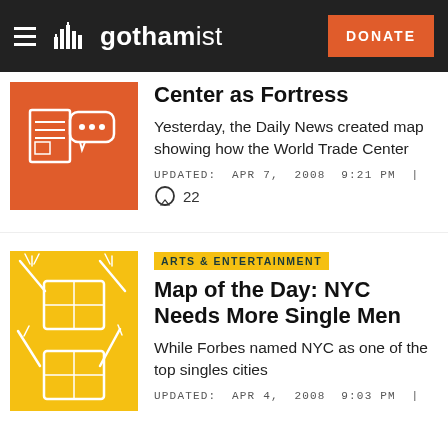gothamist — DONATE
Center as Fortress
Yesterday, the Daily News created map showing how the World Trade Center
UPDATED: APR 7, 2008 9:21 PM |
22
ARTS & ENTERTAINMENT
Map of the Day: NYC Needs More Single Men
While Forbes named NYC as one of the top singles cities
UPDATED: APR 4, 2008 9:03 PM |